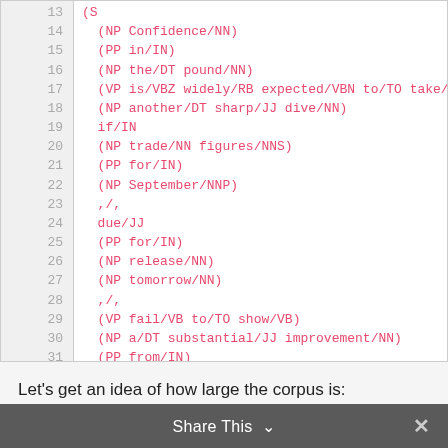[Figure (screenshot): Code block showing parsed NLP tree lines 13-37 with line numbers on the left in gray and code in pink/red monospace font. Lines show NP, PP, VP parse tree nodes with POS tags.]
Let's get an idea of how large the corpus is:
Share This ∨  ✕